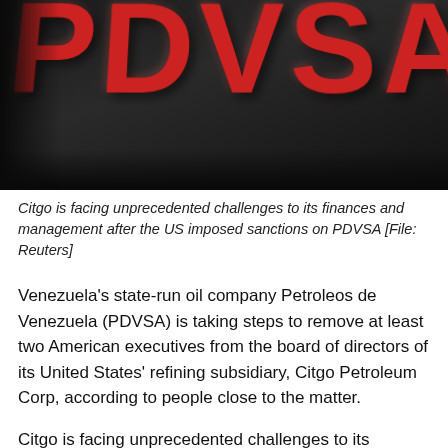[Figure (photo): Close-up photo of large red 3D letters spelling PDVSA against a dark background]
Citgo is facing unprecedented challenges to its finances and management after the US imposed sanctions on PDVSA [File: Reuters]
Venezuela's state-run oil company Petroleos de Venezuela (PDVSA) is taking steps to remove at least two American executives from the board of directors of its United States' refining subsidiary, Citgo Petroleum Corp, according to people close to the matter.
Citgo is facing unprecedented challenges to its finances and management after the US government last week imposed tough sanctions on PDVSA designed to prevent oil revenue from going to leftist President Nicolas Maduro.